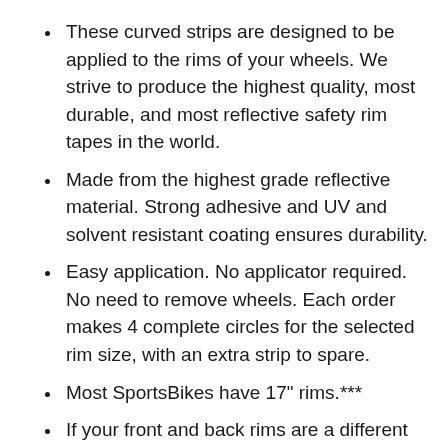These curved strips are designed to be applied to the rims of your wheels. We strive to produce the highest quality, most durable, and most reflective safety rim tapes in the world.
Made from the highest grade reflective material. Strong adhesive and UV and solvent resistant coating ensures durability.
Easy application. No applicator required. No need to remove wheels. Each order makes 4 complete circles for the selected rim size, with an extra strip to spare.
Most SportsBikes have 17" rims.***
If your front and back rims are a different size, please select...